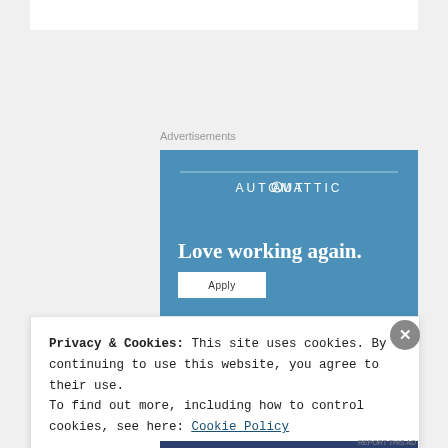Advertisements
[Figure (screenshot): Automattic advertisement banner with blue background, logo at top, headline 'Love working again.' and Apply button]
Privacy & Cookies: This site uses cookies. By continuing to use this website, you agree to their use.
To find out more, including how to control cookies, see here: Cookie Policy
Close and accept